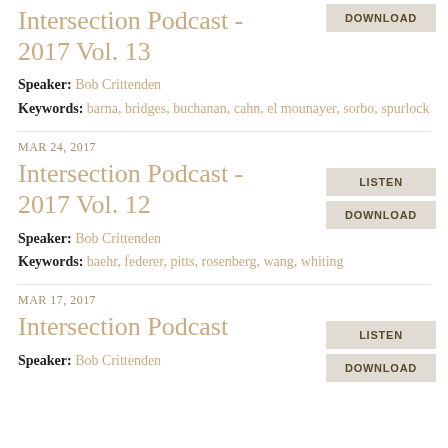Intersection Podcast - 2017 Vol. 13
Speaker: Bob Crittenden
Keywords: barna, bridges, buchanan, cahn, el mounayer, sorbo, spurlock
MAR 24, 2017
Intersection Podcast - 2017 Vol. 12
Speaker: Bob Crittenden
Keywords: baehr, federer, pitts, rosenberg, wang, whiting
MAR 17, 2017
Intersection Podcast
Speaker: Bob Crittenden